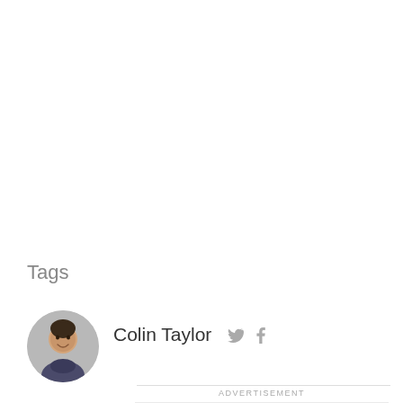Tags
Colin Taylor
[Figure (photo): Circular avatar photo of Colin Taylor, a young man smiling, wearing a dark shirt]
ADVERTISEMENT
[Figure (other): Advertisement placeholder box (light gray rectangle)]